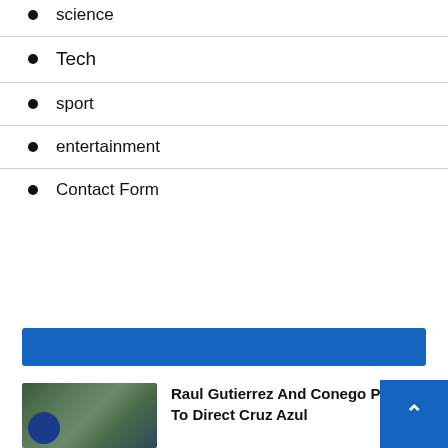science
Tech
sport
entertainment
Contact Form
[Figure (other): Blue horizontal banner bar]
[Figure (photo): Two men shaking hands outdoors, one wearing a blue cap]
Raul Gutierrez And Conego Pe… To Direct Cruz Azul